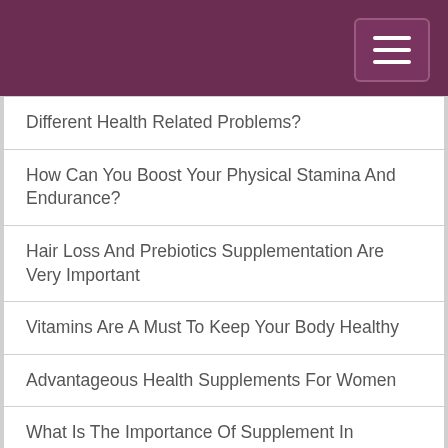Different Health Related Problems?
How Can You Boost Your Physical Stamina And Endurance?
Hair Loss And Prebiotics Supplementation Are Very Important
Vitamins Are A Must To Keep Your Body Healthy
Advantageous Health Supplements For Women
What Is The Importance Of Supplement In Releasing Stress?